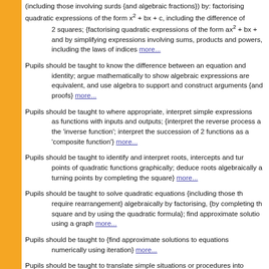Pupils should be taught to simplify and manipulate algebraic expressions (including those involving surds {and algebraic fractions}) by: factorising quadratic expressions of the form x² + bx + c, including the difference of 2 squares; {factorising quadratic expressions of the form ax² + bx + ...} and by simplifying expressions involving sums, products and powers, including the laws of indices more...
Pupils should be taught to know the difference between an equation and identity; argue mathematically to show algebraic expressions are equivalent, and use algebra to support and construct arguments {and proofs} more...
Pupils should be taught to where appropriate, interpret simple expressions as functions with inputs and outputs; {interpret the reverse process as the 'inverse function'; interpret the succession of 2 functions as a 'composite function'} more...
Pupils should be taught to identify and interpret roots, intercepts and turning points of quadratic functions graphically; deduce roots algebraically and turning points by completing the square} more...
Pupils should be taught to solve quadratic equations {including those that require rearrangement} algebraically by factorising, {by completing the square and by using the quadratic formula}; find approximate solutions using a graph more...
Pupils should be taught to {find approximate solutions to equations numerically using iteration} more...
Pupils should be taught to translate simple situations or procedures into algebraic expressions or formulae; derive an equation (or 2